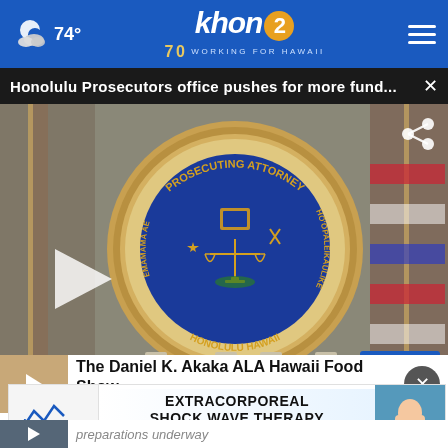74° khon2 WORKING FOR HAWAII
Honolulu Prosecutors office pushes for more fund...
[Figure (screenshot): Video screenshot showing the Prosecuting Attorney Honolulu Hawaii official seal with scales of justice on a blue background, flanked by American and Hawaii state flags. Play button visible on left. KHON2 watermark at bottom right.]
The Daniel K. Akaka ALA Hawaii Food Show
EXTRACORPOREAL SHOCK WAVE THERAPY Long-lasting Results
preparations underway